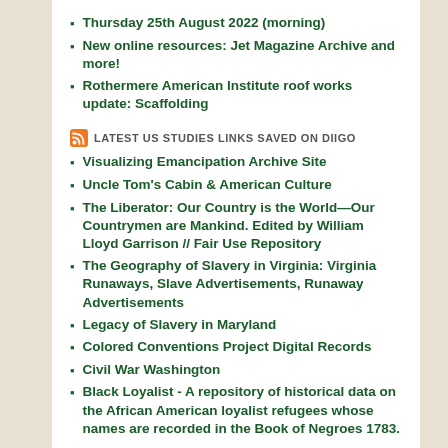Thursday 25th August 2022 (morning)
New online resources: Jet Magazine Archive and more!
Rothermere American Institute roof works update: Scaffolding
LATEST US STUDIES LINKS SAVED ON DIIGO
Visualizing Emancipation Archive Site
Uncle Tom's Cabin & American Culture
The Liberator: Our Country is the World—Our Countrymen are Mankind. Edited by William Lloyd Garrison // Fair Use Repository
The Geography of Slavery in Virginia: Virginia Runaways, Slave Advertisements, Runaway Advertisements
Legacy of Slavery in Maryland
Colored Conventions Project Digital Records
Civil War Washington
Black Loyalist - A repository of historical data on the African American loyalist refugees whose names are recorded in the Book of Negroes 1783.